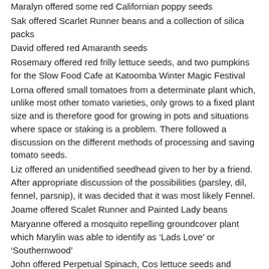Maralyn offered some red Californian poppy seeds
Sak offered Scarlet Runner beans and a collection of silica packs
David offered red Amaranth seeds
Rosemary offered red frilly lettuce seeds, and two pumpkins for the Slow Food Cafe at Katoomba Winter Magic Festival
Lorna offered small tomatoes from a determinate plant which, unlike most other tomato varieties, only grows to a fixed plant size and is therefore good for growing in pots and situations where space or staking is a problem. There followed a discussion on the different methods of processing and saving tomato seeds.
Liz offered an unidentified seedhead given to her by a friend. After appropriate discussion of the possibilities (parsley, dil, fennel, parsnip), it was decided that it was most likely Fennel.
Joame offered Scalet Runner and Painted Lady beans
Maryanne offered a mosquito repelling groundcover plant which Marylin was able to identify as ‘Lads Love’ or ‘Southernwood’
John offered Perpetual Spinach, Cos lettuce seeds and seedlings, and a germination/viability test display.
Grafting Workshop
We are able to announce the details of and accept bookings for our Grafting Workshop. This will be held on Sunday 3 August 10am – 3pm (approximate) at